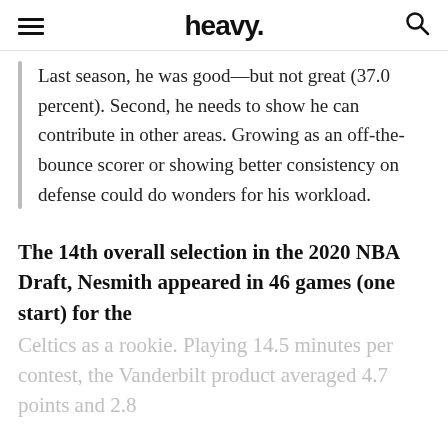heavy.
Last season, he was good—but not great (37.0 percent). Second, he needs to show he can contribute in other areas. Growing as an off-the-bounce scorer or showing better consistency on defense could do wonders for his workload.
The 14th overall selection in the 2020 NBA Draft, Nesmith appeared in 46 games (one start) for the Celtics as a rookie. Playing 14.5 minutes per contest, the Vanderbilt product averaged 4.7 points and 2.8